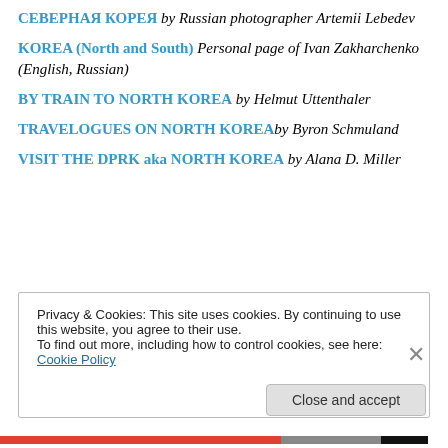СЕВЕРНАЯ КОРЕЯ by Russian photographer Artemii Lebedev
KOREA (North and South) Personal page of Ivan Zakharchenko (English, Russian)
BY TRAIN TO NORTH KOREA by Helmut Uttenthaler
TRAVELOGUES ON NORTH KOREA by Byron Schmuland
VISIT THE DPRK aka NORTH KOREA by Alana D. Miller
Privacy & Cookies: This site uses cookies. By continuing to use this website, you agree to their use.
To find out more, including how to control cookies, see here: Cookie Policy